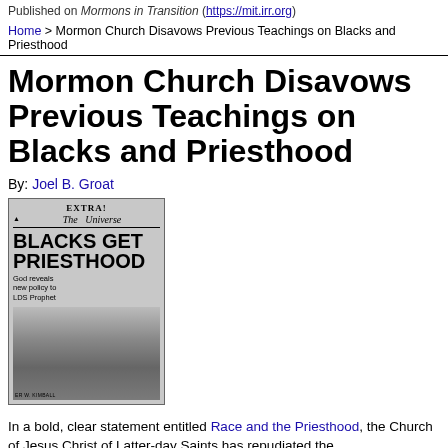Published on Mormons in Transition (https://mit.irr.org)
Home > Mormon Church Disavows Previous Teachings on Blacks and Priesthood
Mormon Church Disavows Previous Teachings on Blacks and Priesthood
By: Joel B. Groat
[Figure (photo): Newspaper front page extra edition of The Universe with headline 'BLACKS GET PRIESTHOOD' and subheading 'God reveals new policy to LDS Prophet', showing a photo of Spencer W. Kimball at a podium]
In a bold, clear statement entitled Race and the Priesthood, the Church of Jesus Christ of Latter-day Saints has repudiated the